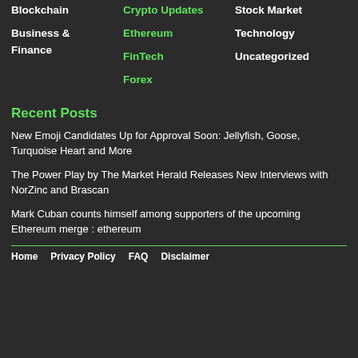Blockchain
Business & Finance
Crypto Updates
Ethereum
FinTech
Forex
Stock Market
Technology
Uncategorized
Recent Posts
New Emoji Candidates Up for Approval Soon: Jellyfish, Goose, Turquoise Heart and More
The Power Play by The Market Herald Releases New Interviews with NorZinc and Brascan
Mark Cuban counts himself among supporters of the upcoming Ethereum merge : ethereum
Home   Privacy Policy   FAQ   Disclaimer